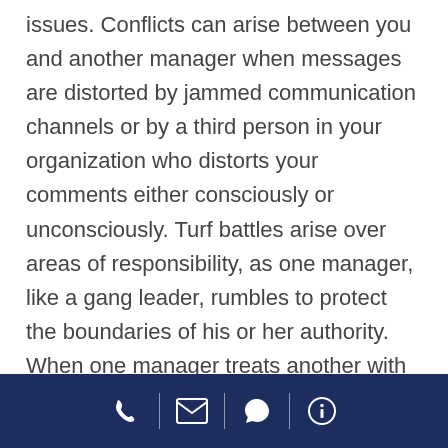issues. Conflicts can arise between you and another manager when messages are distorted by jammed communication channels or by a third person in your organization who distorts your comments either consciously or unconsciously. Turf battles arise over areas of responsibility, as one manager, like a gang leader, rumbles to protect the boundaries of his or her authority. When one manager treats another with little respect, then the first step is taken to undermine the positive work relationship between the two managers. Finally, differences—from gender to ethnic to personality issues—can trigger conflicts.
[phone] [email] [chat] [info]